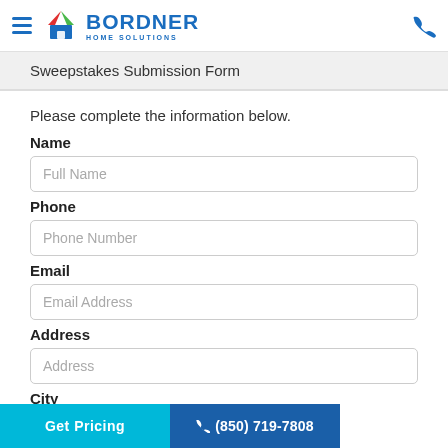BORDNER HOME SOLUTIONS
Sweepstakes Submission Form
Please complete the information below.
Name
Full Name
Phone
Phone Number
Email
Email Address
Address
Address
City
Get Pricing  ✆ (850) 719-7808